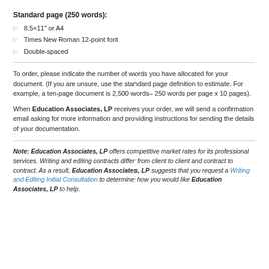Standard page (250 words):
8.5×11" or A4
Times New Roman 12-point font
Double-spaced
To order, please indicate the number of words you have allocated for your document. (If you are unsure, use the standard page definition to estimate. For example, a ten-page document is 2,500 words– 250 words per page x 10 pages).
When Education Associates, LP receives your order, we will send a confirmation email asking for more information and providing instructions for sending the details of your documentation.
Note: Education Associates, LP offers competitive market rates for its professional services. Writing and editing contracts differ from client to client and contract to contract. As a result, Education Associates, LP suggests that you request a Writing and Editing Initial Consultation to determine how you would like Education Associates, LP to help.